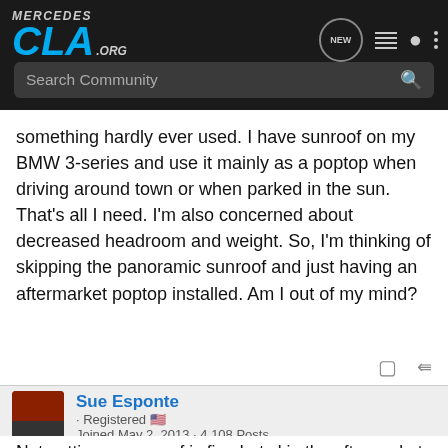Mercedes CLA .org — Search Community
something hardly ever used. I have sunroof on my BMW 3-series and use it mainly as a poptop when driving around town or when parked in the sun. That's all I need. I'm also concerned about decreased headroom and weight. So, I'm thinking of skipping the panoramic sunroof and just having an aftermarket poptop installed. Am I out of my mind?
Sue Esponte · Registered 🇺🇸
Joined May 2, 2013 · 4,108 Posts
#14 · May 16, 2013
Not gettig a moonroof is fine but skip the aftermarket pop